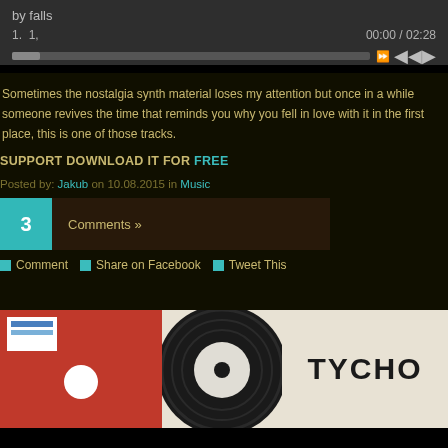by falls
1.  1,	00:00 / 02:28
Sometimes the nostalgia synth material loses my attention but once in a while someone revives the time that reminds you why you fell in love with it in the first place, this is one of those tracks.
SUPPORT DOWNLOAD IT FOR FREE
Posted by: Jakub on 10.08.2015 in Music
3  Comments »
Comment  Share on Facebook  Tweet This
[Figure (photo): Album artwork showing a red record sleeve with a white label and white circle, next to a vinyl record partially visible, and TYCHO text on a cream background]